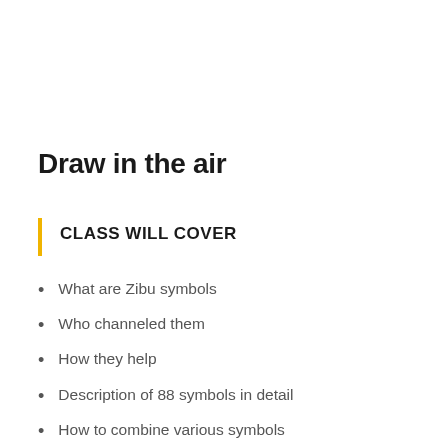Draw in the air
CLASS WILL COVER
What are Zibu symbols
Who channeled them
How they help
Description of 88 symbols in detail
How to combine various symbols
How to work with Zibu symbols
and much more….